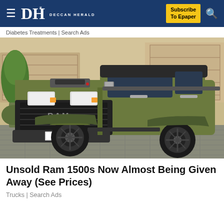DH DECCAN HERALD | Subscribe To Epaper
Diabetes Treatments | Search Ads
[Figure (photo): A matte olive-green RAM 1500 TRX pickup truck parked in front of a building, viewed from the front-left angle. The truck has large off-road tires and a bold black grille with RAM lettering.]
Unsold Ram 1500s Now Almost Being Given Away (See Prices)
Trucks | Search Ads